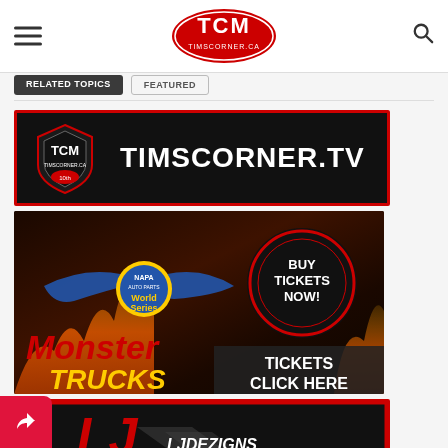TCM TimsCorner.ca navigation header
RELATED TOPICS | FEATURED
[Figure (screenshot): TimsCorner.TV advertisement banner with TCM logo on left and TIMSCORNER.TV text on black background with red border]
[Figure (screenshot): NAPA Auto Parts World Series Monster Trucks advertisement with fire background, Buy Tickets Now button, and TICKETS CLICK HERE text]
[Figure (screenshot): LJ Dezigns Apparel & Wraps advertisement with logo and phone number 403.329.8337 on black background with red border]